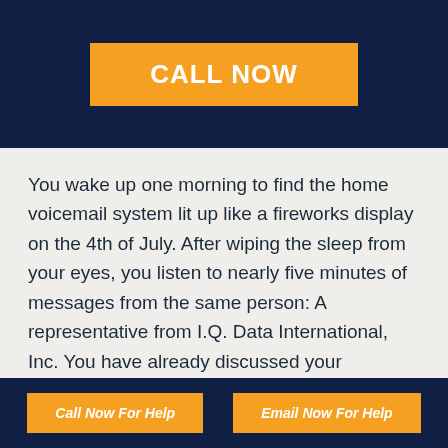[Figure (other): Dark navy blue banner with orange 'CALL NOW' button centered]
You wake up one morning to find the home voicemail system lit up like a fireworks display on the 4th of July. After wiping the sleep from your eyes, you listen to nearly five minutes of messages from the same person: A representative from I.Q. Data International, Inc. You have already discussed your outstanding debt with another representative from the debt
Call Now For Help   Email Now For Help